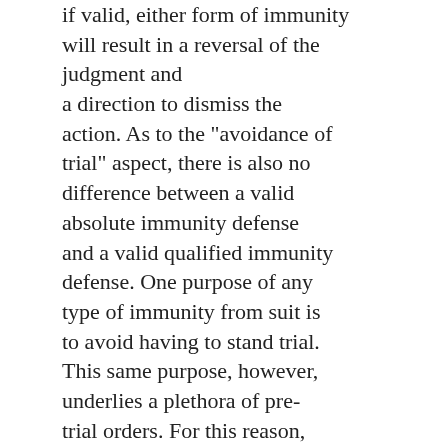if valid, either form of immunity will result in a reversal of the judgment and a direction to dismiss the action. As to the "avoidance of trial" aspect, there is also no difference between a valid absolute immunity defense and a valid qualified immunity defense. One purpose of any type of immunity from suit is to avoid having to stand trial. This same purpose, however, underlies a plethora of pre-trial orders. For this reason, pre-trial orders denying immunity claims are generally not reviewable by interlocutory appeals. In light of Dawkins and